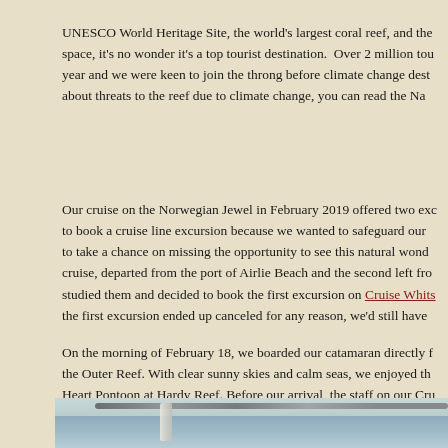UNESCO World Heritage Site, the world's largest coral reef, and the space, it's no wonder it's a top tourist destination. Over 2 million tou year and we were keen to join the throng before climate change dest about threats to the reef due to climate change, you can read the Na
Our cruise on the Norwegian Jewel in February 2019 offered two exc to book a cruise line excursion because we wanted to safeguard our to take a chance on missing the opportunity to see this natural wond cruise, departed from the port of Airlie Beach and the second left fro studied them and decided to book the first excursion on Cruise Whits the first excursion ended up canceled for any reason, we'd still have
On the morning of February 18, we boarded our catamaran directly f the Outer Reef. With clear sunny skies and calm seas, we enjoyed th Heart Pontoon at Hardy Reef. Before our arrival, the staff on our Cru snorkeling.
[Figure (photo): Interior photo of what appears to be a catamaran or boat interior, showing the ceiling/roof structure with metal rails and a light-blue tiled or paneled wall/ceiling area.]